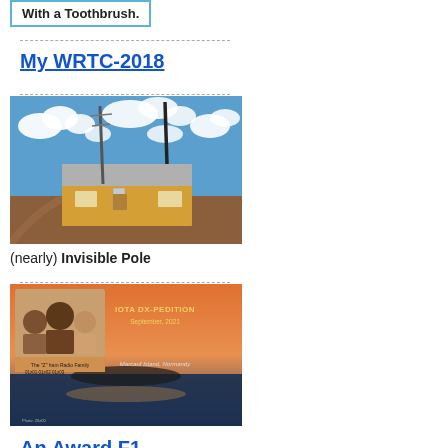With a Toothbrush.
My WRTC-2018
[Figure (photo): A small yellow building with gray roof and tall antenna poles, set against a blue sky with white clouds and flat agricultural fields.]
(nearly) Invisible Pole
[Figure (photo): IOTA DX-Pedition poster/image showing a family photo collage, text 'IOTA DX-PEDITION September, 2021', 'The Z ham Radio Family', 'Marcauf Island Normandy', and a sunset/sea background.]
An Award F1...